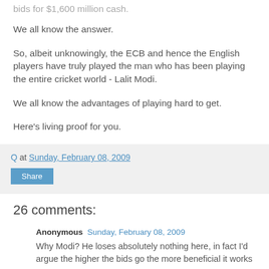bids for $1,600 million cash.
We all know the answer.
So, albeit unknowingly, the ECB and hence the English players have truly played the man who has been playing the entire cricket world - Lalit Modi.
We all know the advantages of playing hard to get.
Here's living proof for you.
Q at Sunday, February 08, 2009
Share
26 comments:
Anonymous Sunday, February 08, 2009
Why Modi? He loses absolutely nothing here, in fact I'd argue the higher the bids go the more beneficial it works